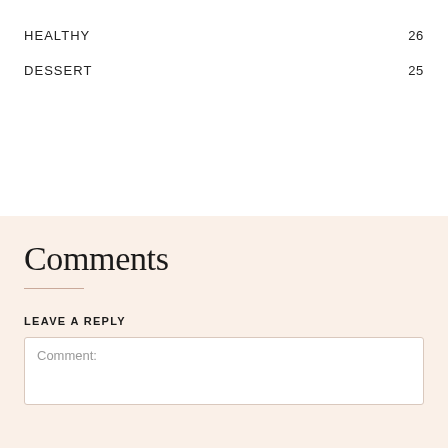HEALTHY 26
DESSERT 25
Comments
LEAVE A REPLY
Comment: